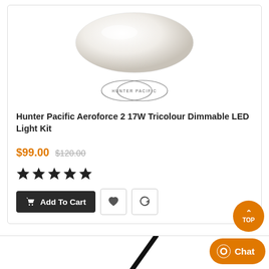[Figure (photo): White oval ceiling light (Hunter Pacific product) with Hunter Pacific brand logo below it]
Hunter Pacific Aeroforce 2 17W Tricolour Dimmable LED Light Kit
$99.00 $120.00
[Figure (infographic): Five filled black star rating icons]
Add To Cart
[Figure (photo): Partial image of another product (dark diagonal element) at bottom of page]
TOP
Chat